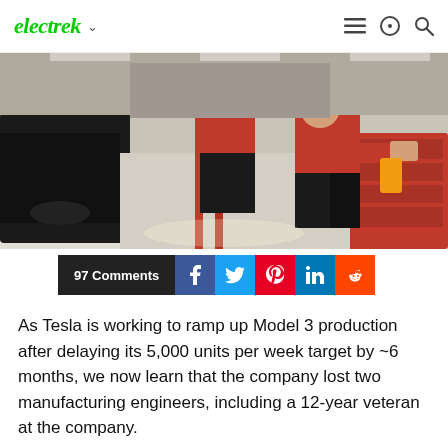electrek
[Figure (photo): Tesla factory workers in red shirts working on Model 3 assembly line, manufacturing floor with car bodies and equipment]
97 Comments
As Tesla is working to ramp up Model 3 production after delaying its 5,000 units per week target by ~6 months, we now learn that the company lost two manufacturing engineers, including a 12-year veteran at the company.